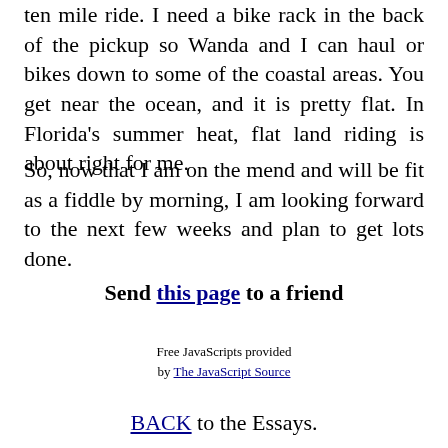ten mile ride. I need a bike rack in the back of the pickup so Wanda and I can haul or bikes down to some of the coastal areas. You get near the ocean, and it is pretty flat. In Florida's summer heat, flat land riding is about right for me.
So, now that I am on the mend and will be fit as a fiddle by morning, I am looking forward to the next few weeks and plan to get lots done.
Send this page to a friend
Free JavaScripts provided by The JavaScript Source
BACK to the Essays.